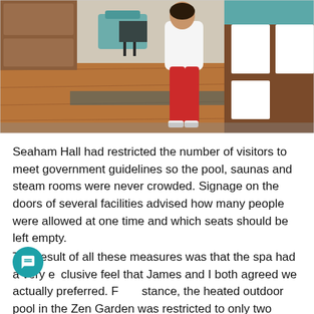[Figure (photo): Interior photo of a spa or hotel lobby area. A person wearing a white top and red pants stands near a reception desk with wooden floors, teal furniture visible in the background, and decorative elements.]
Seaham Hall had restricted the number of visitors to meet government guidelines so the pool, saunas and steam rooms were never crowded. Signage on the doors of several facilities advised how many people were allowed at one time and which seats should be left empty.
The result of all these measures was that the spa had a very exclusive feel that James and I both agreed we actually preferred. For instance, the heated outdoor pool in the Zen Garden was restricted to only two people at a time, so it felt like we had our